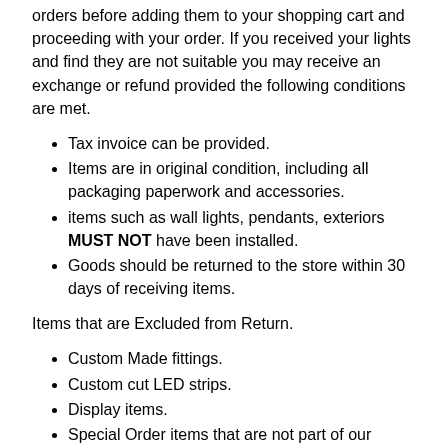orders before adding them to your shopping cart and proceeding with your order. If you received your lights and find they are not suitable you may receive an exchange or refund provided the following conditions are met.
Tax invoice can be provided.
Items are in original condition, including all packaging paperwork and accessories.
items such as wall lights, pendants, exteriors MUST NOT have been installed.
Goods should be returned to the store within 30 days of receiving items.
Items that are Excluded from Return.
Custom Made fittings.
Custom cut LED strips.
Display items.
Special Order items that are not part of our standard website range.
Please note: The customer is responsible to arrange and pay for